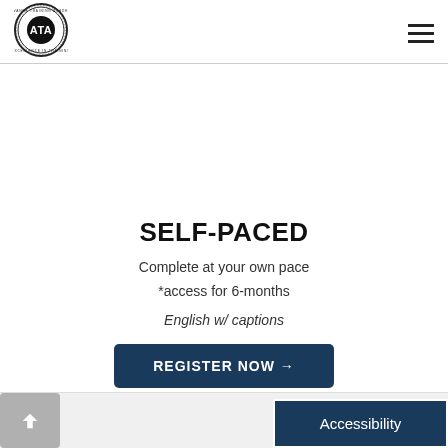[Figure (logo): ATA (Advance Training Academy) circular logo with badge design, black and white]
SELF-PACED
Complete at your own pace
*access for 6-months
English w/ captions
REGISTER NOW →
Accessibility